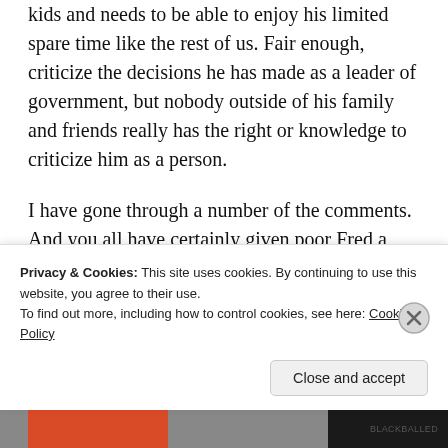kids and needs to be able to enjoy his limited spare time like the rest of us. Fair enough, criticize the decisions he has made as a leader of government, but nobody outside of his family and friends really has the right or knowledge to criticize him as a person.

I have gone through a number of the comments. And you all have certainly given poor Fred a very hard time of it. Whether he came on this forum to be a
Privacy & Cookies: This site uses cookies. By continuing to use this website, you agree to their use.
To find out more, including how to control cookies, see here: Cookie Policy
Close and accept